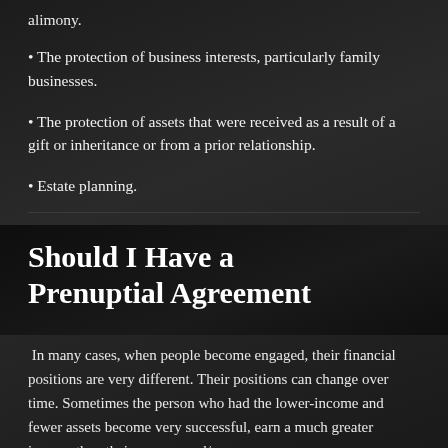alimony.
• The protection of business interests, particularly family businesses.
• The protection of assets that were received as a result of a gift or inheritance or from a prior relationship.
• Estate planning.
Should I Have a Prenuptial Agreement
In many cases, when people become engaged, their financial positions are very different. Their positions can change over time. Sometimes the person who had the lower-income and fewer assets become very successful, earn a much greater income than their spouse, and/or